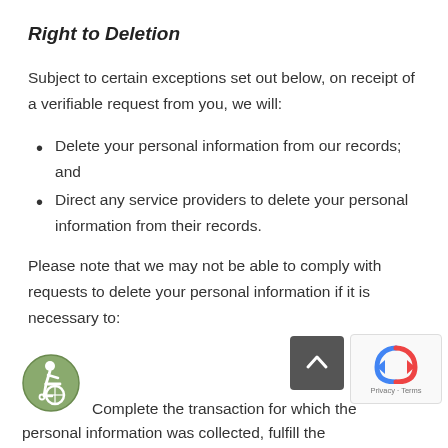Right to Deletion
Subject to certain exceptions set out below, on receipt of a verifiable request from you, we will:
Delete your personal information from our records; and
Direct any service providers to delete your personal information from their records.
Please note that we may not be able to comply with requests to delete your personal information if it is necessary to:
[Figure (illustration): Accessibility icon — green circular badge with a wheelchair user figure]
Complete the transaction for which the personal information was collected, fulfill the